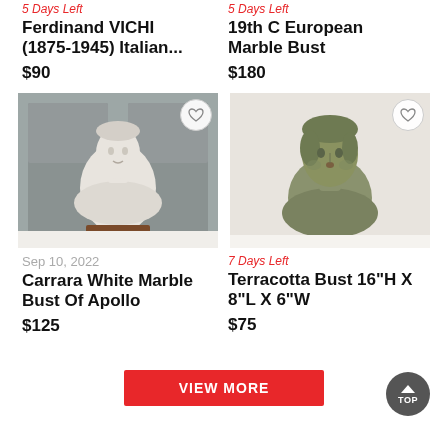5 Days Left
Ferdinand VICHI (1875-1945) Italian...
$90
5 Days Left
19th C European Marble Bust
$180
[Figure (photo): White marble bust of Apollo on a dark wooden pedestal, displayed in front of a grey paneled wall]
[Figure (photo): Green-patinated terracotta bust of a woman with styled hair]
Sep 10, 2022
Carrara White Marble Bust Of Apollo
$125
7 Days Left
Terracotta Bust 16"H X 8"L X 6"W
$75
VIEW MORE